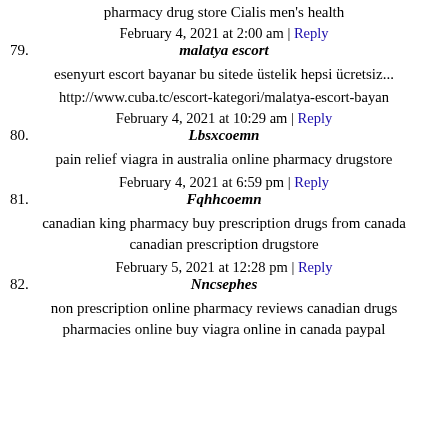pharmacy drug store Cialis men's health
February 4, 2021 at 2:00 am | Reply
79. malatya escort
esenyurt escort bayanar bu sitede üstelik hepsi ücretsiz...
http://www.cuba.tc/escort-kategori/malatya-escort-bayan
February 4, 2021 at 10:29 am | Reply
80. Lbsxcoemn
pain relief viagra in australia online pharmacy drugstore
February 4, 2021 at 6:59 pm | Reply
81. Fqhhcoemn
canadian king pharmacy buy prescription drugs from canada canadian prescription drugstore
February 5, 2021 at 12:28 pm | Reply
82. Nncsephes
non prescription online pharmacy reviews canadian drugs pharmacies online buy viagra online in canada paypal